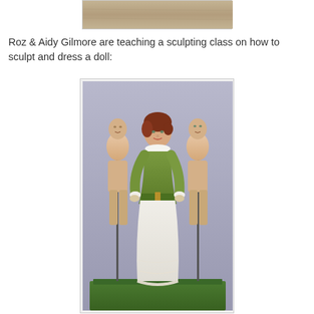[Figure (photo): Partial top view of a sandy or stone surface, upper portion of a photo cut off at top of page]
Roz & Aidy Gilmore are teaching a sculpting class on how to sculpt and dress a doll:
[Figure (photo): A dressed doll in a green dress with white lace skirt and apron, red hair, standing in front of two undressed clay/polymer doll bodies on metal stands, all on a green base]